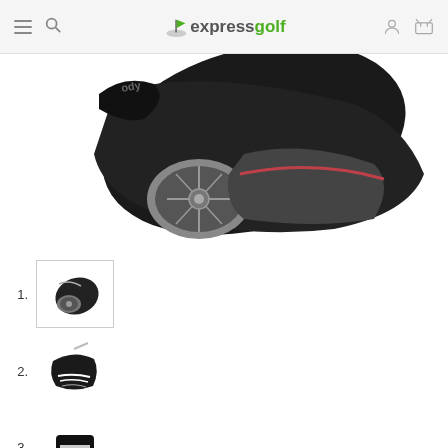expressgolf - navigation bar with menu, search, logo, account and cart icons
[Figure (photo): Close-up top-down view of a dark/black Odyssey golf putter head with silver weight and textured grip insert, partial view cropped at top]
1. Thumbnail of Odyssey putter - front angle view, selected
2. Thumbnail of Odyssey putter - side angle view
3. Thumbnail of Odyssey putter - top-down view
4. Thumbnail of Odyssey putter - hosel/shaft angle
5. Thumbnail of Odyssey putter - partial view at bottom